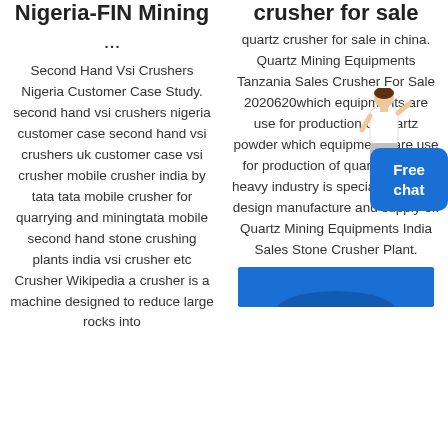Nigeria-FIN Mining ...
Second Hand Vsi Crushers Nigeria Customer Case Study. second hand vsi crushers nigeria customer case second hand vsi crushers uk customer case vsi crusher mobile crusher india by tata tata mobile crusher for quarrying and miningtata mobile second hand stone crushing plants india vsi crusher etc Crusher Wikipedia a crusher is a machine designed to reduce large rocks into
crusher for sale
quartz crusher for sale in china. Quartz Mining Equipments Tanzania Sales Crusher For Sale 2020620which equipments are use for production of quartz powder which equipments are use for production of quartz powder heavy industry is specialized in the design manufacture and supply of. Quartz Mining Equipments India Sales Stone Crusher Plant.
[Figure (photo): Blue image bar at the bottom of the right column, partially visible]